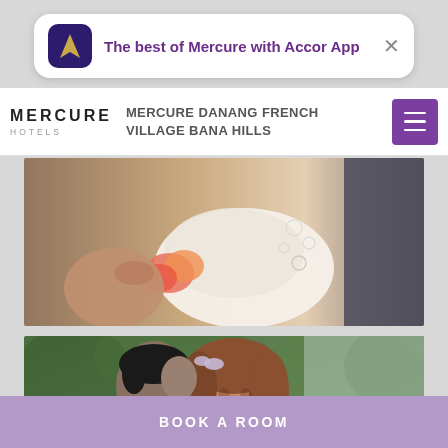[Figure (screenshot): Accor App notification banner with purple app icon showing flame logo and text 'The best of Mercure with Accor App' with close X button]
MERCURE DANANG FRENCH VILLAGE BANA HILLS
[Figure (photo): Wedding photo showing bride's white embroidered dress detail and groom in dark suit with flowers]
[Figure (photo): Couple photo showing smiling young woman with hair bow and man in grey suit embracing her from behind outdoors]
BOOK A ROOM